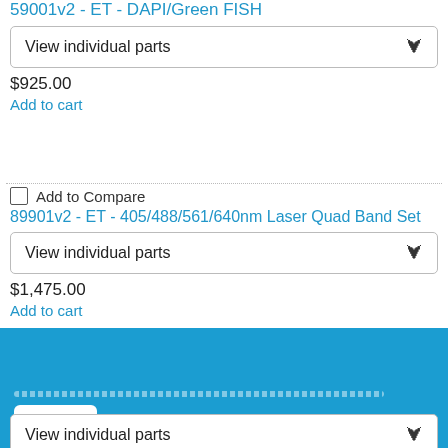59001v2 - ET - DAPI/Green FISH
View individual parts (dropdown)
$925.00
Add to cart
Add to Compare
89901v2 - ET - 405/488/561/640nm Laser Quad Band Set
View individual parts (dropdown)
$1,475.00
Add to cart
Add to Compare
TRF89901v2 - ET - 405/488/561/640nm Laser Quad Band Set for TIRF applications
View individual parts (dropdown)
Footer with dotted progress bar and button